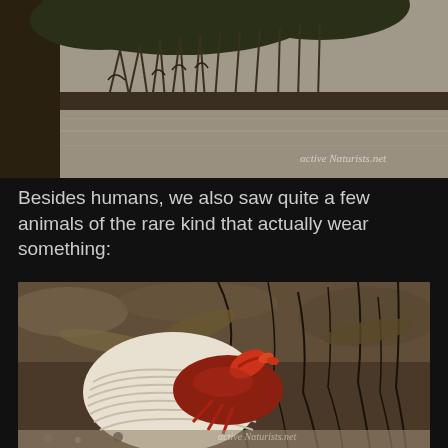[Figure (photo): Mangrove trees standing in shallow water, with tangled root systems visible, watermark reading 'Active Naturists.net' in lower right]
Besides humans, we also saw quite a few animals of the rare kind that actually wear something:
[Figure (photo): Close-up photograph of a hermit crab in a large white shell, surrounded by seaweed and debris on a rocky beach, watermark reading 'Active Naturists.net' in lower right]